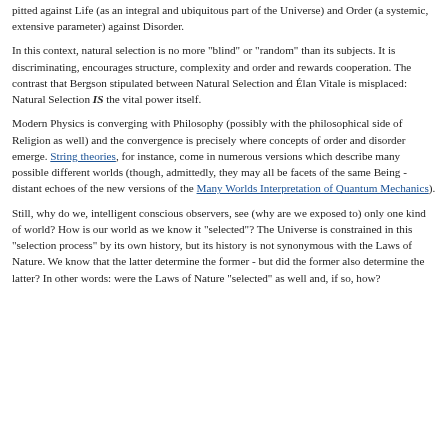pitted against Life (as an integral and ubiquitous part of the Universe) and Order (a systemic, extensive parameter) against Disorder.
In this context, natural selection is no more "blind" or "random" than its subjects. It is discriminating, encourages structure, complexity and order and rewards cooperation. The contrast that Bergson stipulated between Natural Selection and Élan Vitale is misplaced: Natural Selection IS the vital power itself.
Modern Physics is converging with Philosophy (possibly with the philosophical side of Religion as well) and the convergence is precisely where concepts of order and disorder emerge. String theories, for instance, come in numerous versions which describe many possible different worlds (though, admittedly, they may all be facets of the same Being - distant echoes of the new versions of the Many Worlds Interpretation of Quantum Mechanics).
Still, why do we, intelligent conscious observers, see (why are we exposed to) only one kind of world? How is our world as we know it "selected"? The Universe is constrained in this "selection process" by its own history, but its history is not synonymous with the Laws of Nature. We know that the latter determine the former - but did the former also determine the latter? In other words: were the Laws of Nature "selected" as well and, if so, how?